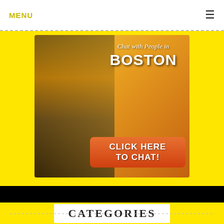MENU ☰
[Figure (illustration): Advertisement banner: 'Chat with People in BOSTON — CLICK HERE TO CHAT!' with a couple holding hands in the background, on a yellow background.]
CATEGORIES